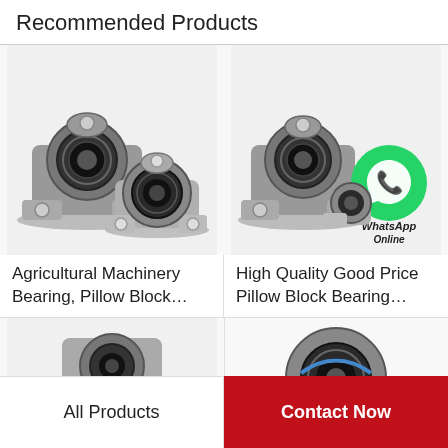Recommended Products
[Figure (photo): Two pillow block bearings, metallic grey/black, shown from front and side angle]
Agricultural Machinery Bearing, Pillow Block…
[Figure (photo): Two pillow block bearings with WhatsApp Online overlay badge (green phone icon, 'WhatsApp Online' text)]
High Quality Good Price Pillow Block Bearing…
[Figure (photo): Partial view of a pillow block bearing, bottom row left card]
[Figure (photo): Partial view of a pillow block bearing, bottom row right card]
All Products
Contact Now